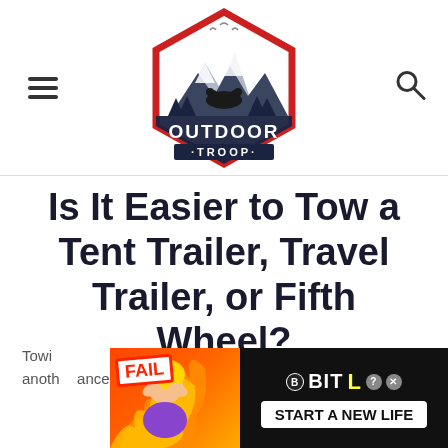[Figure (logo): Outdoor Troop logo: hexagonal badge with red border, mountain/forest/bear illustration above, 'OUTDOOR TROOP' text in dark navy]
Is It Easier to Tow a Tent Trailer, Travel Trailer, or Fifth Wheel?
Towing … is one of the challenges that comes with … towing another … ances
[Figure (photo): BitLife advertisement: 'FAIL' badge, cartoon girl facepalming with flames, 'BitLife START A NEW LIFE' text on dark background]